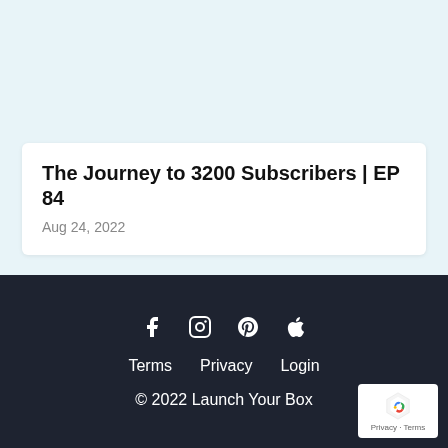The Journey to 3200 Subscribers | EP 84
Aug 24, 2022
Terms   Privacy   Login
© 2022 Launch Your Box